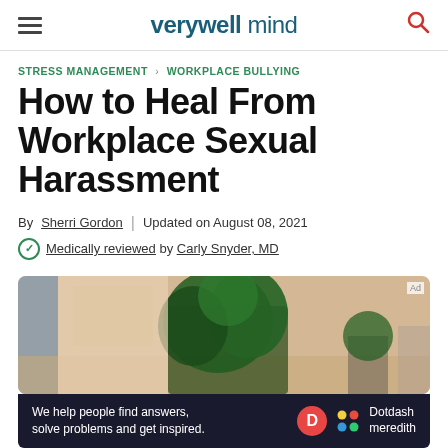verywell mind — navigation bar
STRESS MANAGEMENT > WORKPLACE BULLYING
How to Heal From Workplace Sexual Harassment
By Sherri Gordon | Updated on August 08, 2021
✓ Medically reviewed by Carly Snyder, MD
[Figure (photo): A person standing near indoor plants in a room, partial photo used as article hero image]
We help people find answers, solve problems and get inspired. Dotdash meredith